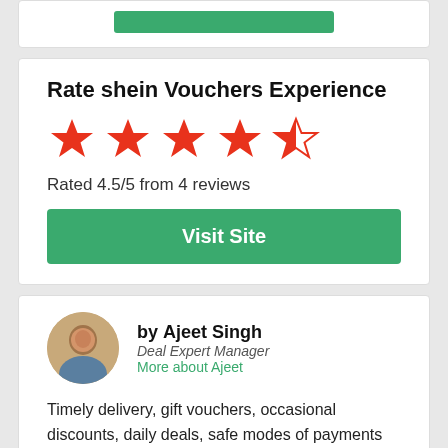[Figure (other): Green button/bar at top of page]
Rate shein Vouchers Experience
[Figure (other): Star rating: 4.5 out of 5 stars (4 filled red stars and 1 half star)]
Rated 4.5/5 from 4 reviews
Visit Site
[Figure (photo): Circular avatar photo of Ajeet Singh]
by Ajeet Singh
Deal Expert Manager
More about Ajeet
Timely delivery, gift vouchers, occasional discounts, daily deals, safe modes of payments and refund facilities, all are other major lookouts that highlight the